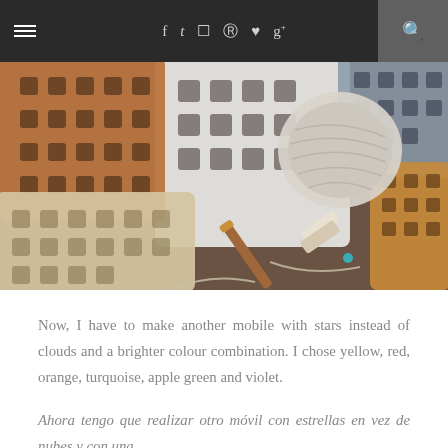≡  f  t  ☷  ⊕  ♥  g+  🔍
[Figure (photo): Overhead photo of crocheted granny squares in white, beige, orange/brown and blue-grey colors arranged on a brown wooden table, with a ball of light grey yarn and a wooden crochet hook with a teal tip visible.]
Now, I have to make another mobile with stars instead of clouds and a brighter colour combination. I chose yellow, red, orange, turquoise, apple green and violet.
Ahora tengo que realizar otro móvil con estrellas en vez de nubes y con una